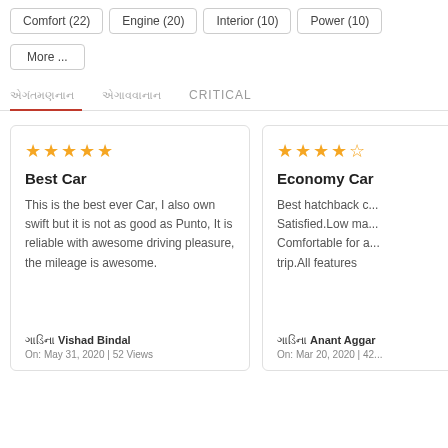Comfort (22)
Engine (20)
Interior (10)
Power (10)
More ...
CRITICAL
Best Car
5 stars
This is the best ever Car, I also own swift but it is not as good as Punto, It is reliable with awesome driving pleasure, the mileage is awesome.
Vishad Bindal
On: May 31, 2020 | 52 Views
Economy Car
4.5 stars
Best hatchback... Satisfied.Low ma... Comfortable for a... trip.All features
Anant Aggar...
On: Mar 20, 2020 | 42...